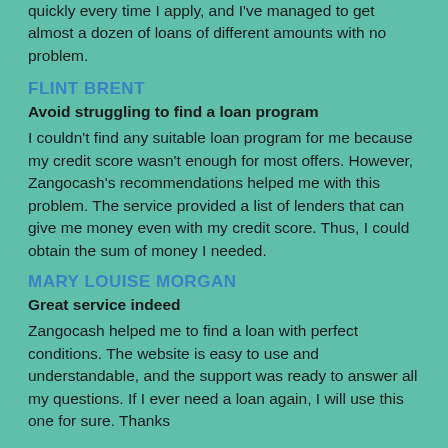quickly every time I apply, and I've managed to get almost a dozen of loans of different amounts with no problem.
FLINT BRENT
Avoid struggling to find a loan program
I couldn't find any suitable loan program for me because my credit score wasn't enough for most offers. However, Zangocash's recommendations helped me with this problem. The service provided a list of lenders that can give me money even with my credit score. Thus, I could obtain the sum of money I needed.
MARY LOUISE MORGAN
Great service indeed
Zangocash helped me to find a loan with perfect conditions. The website is easy to use and understandable, and the support was ready to answer all my questions. If I ever need a loan again, I will use this one for sure. Thanks